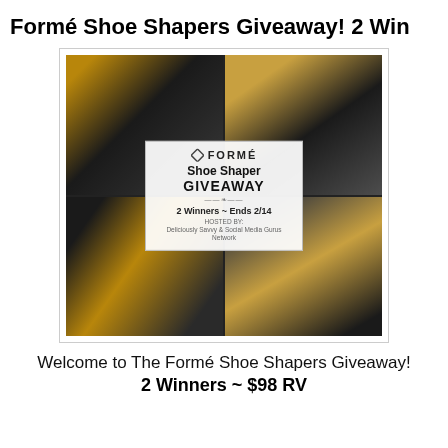Formé Shoe Shapers Giveaway! 2 Win
[Figure (photo): Collage of Formé Shoe Shaper products showing black and gold shoes/loafers arranged in a 2x2 grid with a central overlay card reading: FORMÉ Shoe Shaper GIVEAWAY, 2 Winners ~ Ends 2/14, HOSTED BY: Deliciously Savvy & Social Media Gurus Network]
Welcome to The Formé Shoe Shapers Giveaway!
2 Winners ~ $98 RV